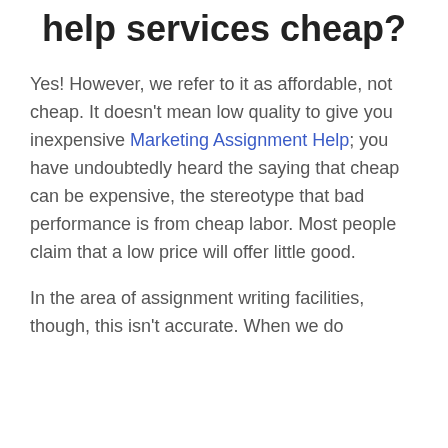help services cheap?
Yes! However, we refer to it as affordable, not cheap. It doesn’t mean low quality to give you inexpensive Marketing Assignment Help; you have undoubtedly heard the saying that cheap can be expensive, the stereotype that bad performance is from cheap labor. Most people claim that a low price will offer little good.
In the area of assignment writing facilities, though, this isn’t accurate. When we do